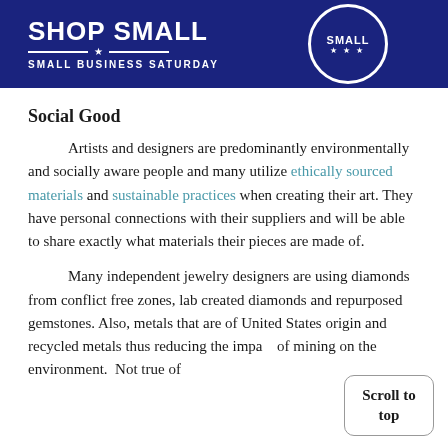[Figure (logo): Shop Small — Small Business Saturday banner with blue background, white text and circular badge on right]
Social Good
Artists and designers are predominantly environmentally and socially aware people and many utilize ethically sourced materials and sustainable practices when creating their art. They have personal connections with their suppliers and will be able to share exactly what materials their pieces are made of.
Many independent jewelry designers are using diamonds from conflict free zones, lab created diamonds and repurposed gemstones. Also, metals that are of United States origin and recycled metals thus reducing the impact of mining on the environment.  Not true of